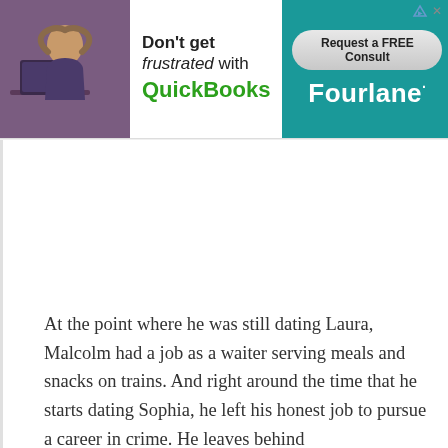[Figure (screenshot): Advertisement banner: left side shows a person with head in hands at a desk (frustration); middle text reads 'Don't get frustrated with QuickBooks'; right side teal background with 'Request a FREE Consult' button and 'Fourlane.' logo in white]
At the point where he was still dating Laura, Malcolm had a job as a waiter serving meals and snacks on trains. And right around the time that he starts dating Sophia, he left his honest job to pursue a career in crime. He leaves behind